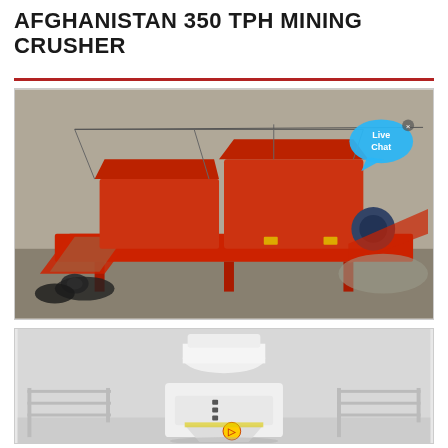AFGHANISTAN 350 TPH MINING CRUSHER
[Figure (photo): A large red mobile mining crusher machine mounted on a trailer, with conveyor belts, crushing unit, and various mechanical components. The machine is parked on a gravel/dirt surface outdoors. A blue 'Live Chat' speech bubble is overlaid on the upper-right area of the image.]
[Figure (photo): A white cone/impact crusher machine shown from the front, with mechanical components visible including a yellow safety symbol. The background is light grey/white. Partial view of metal railings on either side.]